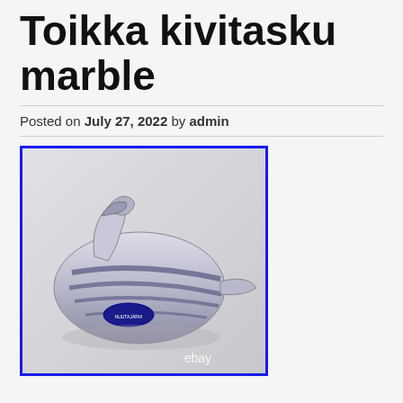Toikka kivitasku marble
Posted on July 27, 2022 by admin
[Figure (photo): Photo of a Toikka kivitasku marble glass bird figurine with blue stripe pattern and a Nuutajärvi label, with 'ebay' watermark at bottom right. The image is framed with a blue border.]